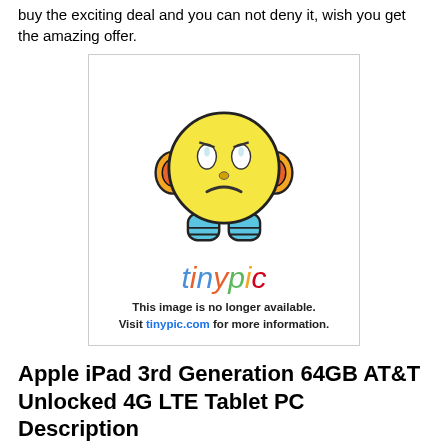buy the exciting deal and you can not deny it, wish you get the amazing offer.
[Figure (illustration): Tinypic placeholder image showing a sad emoji face with headphones and the text 'This image is no longer available. Visit tinypic.com for more information.']
Apple iPad 3rd Generation 64GB AT&T Unlocked 4G LTE Tablet PC Description